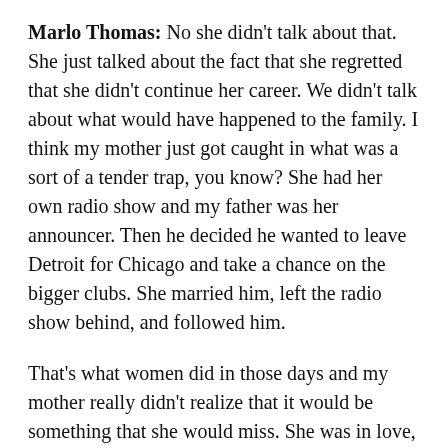Marlo Thomas: No she didn't talk about that. She just talked about the fact that she regretted that she didn't continue her career. We didn't talk about what would have happened to the family. I think my mother just got caught in what was a sort of a tender trap, you know? She had her own radio show and my father was her announcer. Then he decided he wanted to leave Detroit for Chicago and take a chance on the bigger clubs. She married him, left the radio show behind, and followed him.
That's what women did in those days and my mother really didn't realize that it would be something that she would miss. She was in love, then she had a baby (me), then she had another baby and before you know it it's like the women we're talking about today. "Whatever happened to me?" I feel sorry for my mother's ... such a final choice, you know? She gave us her whole life and